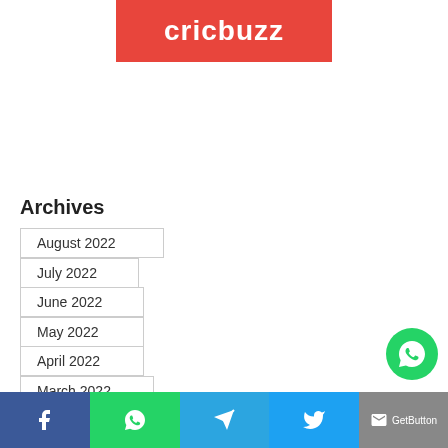[Figure (logo): Cricbuzz logo: white bold text 'cricbuzz' on red/coral background banner]
Archives
August 2022
July 2022
June 2022
May 2022
April 2022
March 2022
[Figure (infographic): Social sharing bar with Facebook, WhatsApp, Telegram, Twitter, and GetButton icons at the bottom of the page]